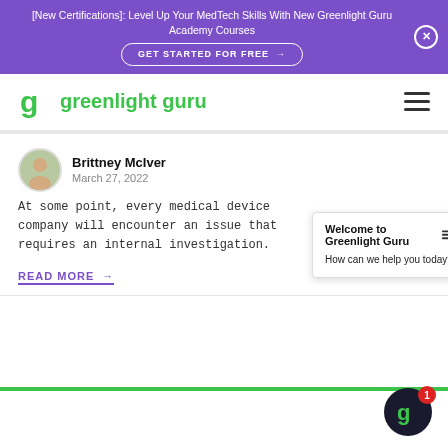[New Certifications]: Level Up Your MedTech Skills With New Greenlight Guru Academy Courses
[Figure (logo): Greenlight Guru logo with green stylized G icon and green text 'greenlight guru']
Brittney McIver
March 27, 2022
At some point, every medical device company will encounter an issue that requires an internal investigation.
READ MORE
Welcome to Greenlight Guru
How can we help you today?